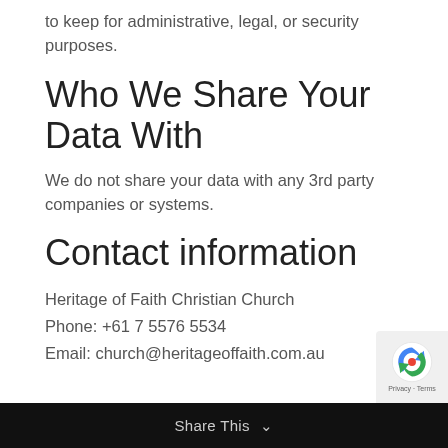to keep for administrative, legal, or security purposes.
Who We Share Your Data With
We do not share your data with any 3rd party companies or systems.
Contact information
Heritage of Faith Christian Church
Phone: +61 7 5576 5534
Email: church@heritageoffaith.com.au
Share This ∨